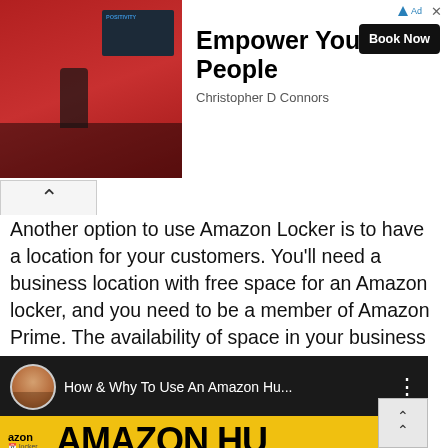[Figure (screenshot): Advertisement banner showing a presenter speaking to a seated audience in front of a red wall with a screen. Text reads 'Empower Your People' by Christopher D Connors with a 'Book Now' button.]
Another option to use Amazon Locker is to have a location for your customers. You'll need a business location with free space for an Amazon locker, and you need to be a member of Amazon Prime. The availability of space in your business location and the demand in your neighborhood will determine whether you can accept an application. You'll hear back from Amazon within two weeks. You may also be eligible to apply for the service if your location meets the requirements.
[Figure (screenshot): YouTube video thumbnail showing 'How & Why To Use An Amazon Hu...' with a person's avatar, and the bottom shows 'AMAZON HU' text in large bold letters on a yellow background with Amazon Locker branding.]